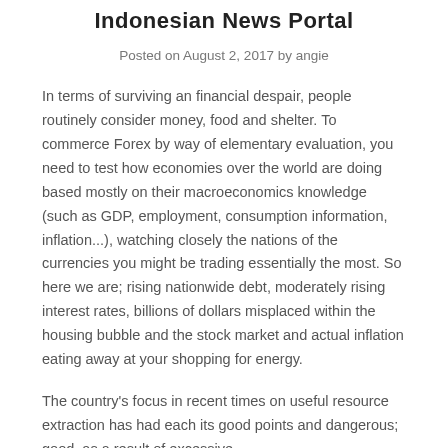Indonesian News Portal
Posted on August 2, 2017 by angie
In terms of surviving an financial despair, people routinely consider money, food and shelter. To commerce Forex by way of elementary evaluation, you need to test how economies over the world are doing based mostly on their macroeconomics knowledge (such as GDP, employment, consumption information, inflation...), watching closely the nations of the currencies you might be trading essentially the most. So here we are; rising nationwide debt, moderately rising interest rates, billions of dollars misplaced within the housing bubble and the stock market and actual inflation eating away at your shopping for energy.
The country's focus in recent times on useful resource extraction has had each its good points and dangerous; good, as a result of excessive